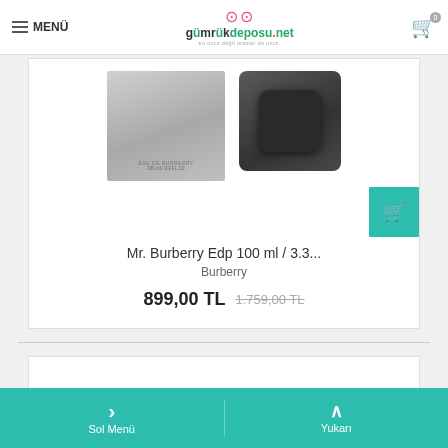MENÜ | gümrükdeposu.net | Cart (0)
[Figure (screenshot): Product listing page showing Mr. Burberry Edp perfume with two product images (silver flat bottle and dark square bottle), product name, brand, current price 899,00 TL and old price 1.759,00 TL, with a teal add-to-cart button]
Mr. Burberry Edp 100 ml / 3.3...
Burberry
899,00 TL  1.759,00 TL
Sol Menü | Yukarı